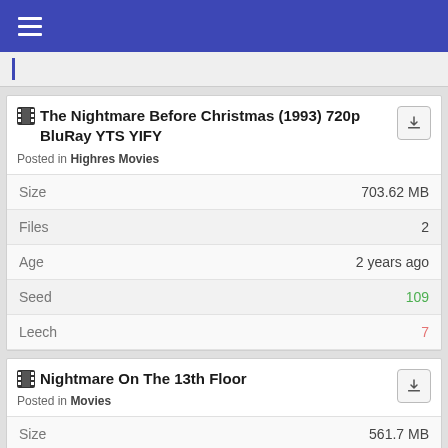Navigation menu (hamburger icon)
The Nightmare Before Christmas (1993) 720p BluRay YTS YIFY
Posted in Highres Movies
| Property | Value |
| --- | --- |
| Size | 703.62 MB |
| Files | 2 |
| Age | 2 years ago |
| Seed | 109 |
| Leech | 7 |
Nightmare On The 13th Floor
Posted in Movies
| Property | Value |
| --- | --- |
| Size | 561.7 MB |
| Files | 2 |
| Age | 2 years ago |